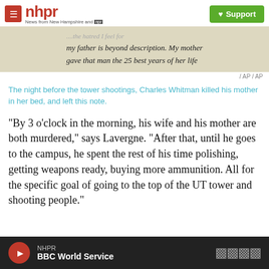nhpr — News from New Hampshire and NPR — Support
[Figure (photo): Handwritten note on aged paper, partial text visible: 'my father is beyond description. My mother gave that man the 25 best years of her life']
/ AP / AP
The night before the tower shootings, Charles Whitman killed his mother in her bed, and left this note.
"By 3 o'clock in the morning, his wife and his mother are both murdered," says Lavergne. "After that, until he goes to the campus, he spent the rest of his time polishing, getting weapons ready, buying more ammunition. All for the specific goal of going to the top of the UT tower and shooting people."
NHPR — BBC World Service